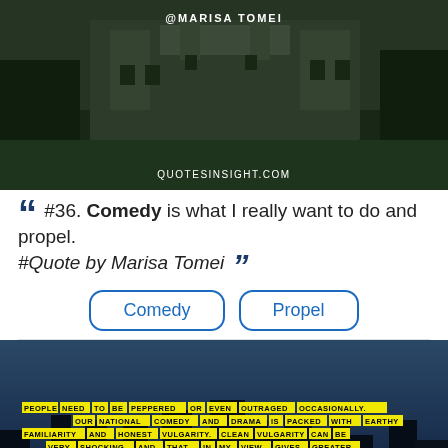[Figure (photo): Dark photo of a historic castle/mansion building with green lawn, overlaid with '@MARISA TOMEI' and 'QUOTESINSIGHT.COM' text watermarks]
“ #36. Comedy is what I really want to do and propel. #Quote by Marisa Tomei ”
Comedy   Propel
[Figure (photo): Dark cityscape skyline photo with yellow-highlighted quote text: 'PEOPLE NEED TO BE PEPPERED OR EVEN OUTRAGED OCCASIONALLY. OUR NATIONAL COMEDY AND DRAMA IS PACKED WITH EARTHY FAMILIARITY AND HONEST VULGARITY. CLEAN VULGARITY CAN BE VERY SHOCKING AND THAT, IN MY VIEW, GIVES GREATER INVOLVEMENT. ...' and '@Kenneth Williams' attribution]